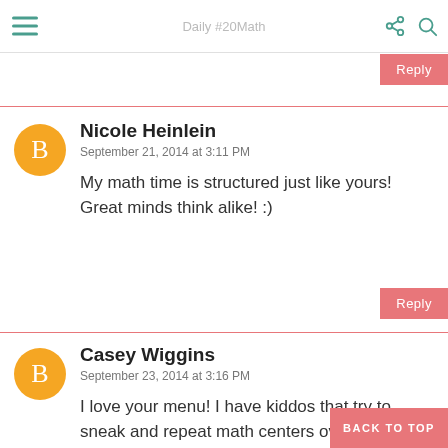Daily #20Math
Reply
Nicole Heinlein
September 21, 2014 at 3:11 PM
My math time is structured just like yours! Great minds think alike! :)
Reply
Casey Wiggins
September 23, 2014 at 3:16 PM
I love your menu! I have kiddos that try to sneak and repeat math centers over and over again. :)

Casey
BACK TO TOP